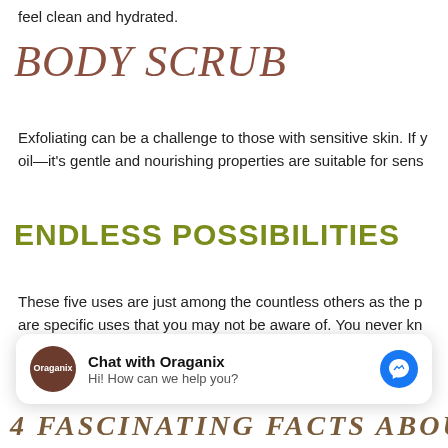feel clean and hydrated.
BODY SCRUB
Exfoliating can be a challenge to those with sensitive skin. If y oil—it's gentle and nourishing properties are suitable for sens
ENDLESS POSSIBILITIES
These five uses are just among the countless others as the p are specific uses that you may not be aware of. You never kn
[Figure (screenshot): Chat widget with Oraganix logo, text 'Chat with Oraganix' and 'Hi! How can we help you?' with Messenger icon]
4 FASCINATING FACTS ABOUT